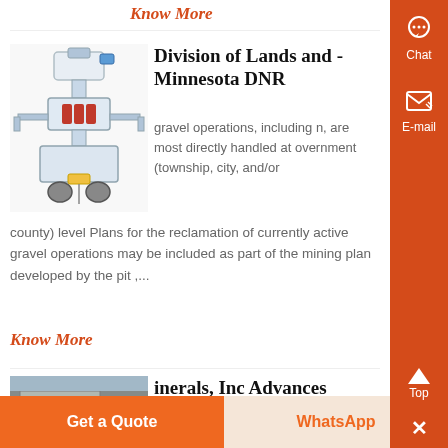Know More
Division of Lands and - Minnesota DNR
gravel operations, including n, are most directly handled at overnment (township, city, and/or county) level Plans for the reclamation of currently active gravel operations may be included as part of the mining plan developed by the pit ,...
Know More
[Figure (photo): Industrial machinery/gravel processing equipment illustration]
inerals, Inc Advances
[Figure (photo): Building exterior photo, partially visible]
Get a Quote
WhatsApp